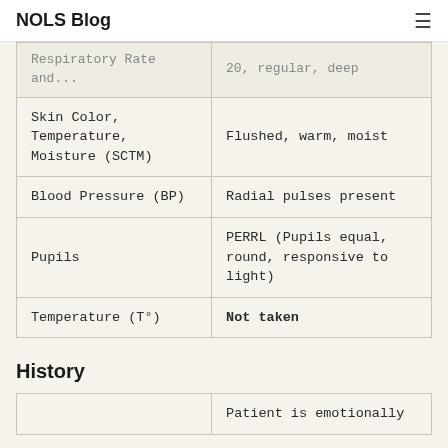NOLS Blog
| Vital Sign | Finding |
| --- | --- |
| Respiratory Rate and… | 20, regular, deep |
| Skin Color, Temperature, Moisture (SCTM) | Flushed, warm, moist |
| Blood Pressure (BP) | Radial pulses present |
| Pupils | PERRL (Pupils equal, round, responsive to light) |
| Temperature (T°) | Not taken |
History
|  | Patient is emotionally |